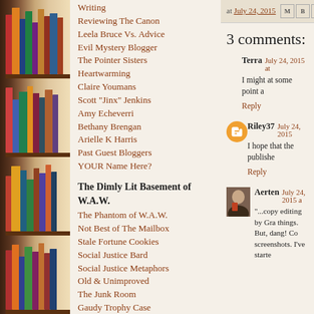[Figure (photo): Bookshelf with colorful books on left side of page]
Writing
Reviewing The Canon
Leela Bruce Vs. Advice
Evil Mystery Blogger
The Pointer Sisters
Heartwarming
Claire Youmans
Scott "Jinx" Jenkins
Amy Echeverri
Bethany Brengan
Arielle K Harris
Past Guest Bloggers
YOUR Name Here?
The Dimly Lit Basement of W.A.W.
The Phantom of W.A.W.
Not Best of The Mailbox
Stale Fortune Cookies
Social Justice Bard
Social Justice Metaphors
Old & Unimproved
The Junk Room
Gaudy Trophy Case
at July 24, 2015
3 comments:
Terra  July 24, 2015 at
I might at some point a
Reply
Riley37  July 24, 2015
I hope that the publishe
Reply
Aerten  July 24, 2015 a
"...copy editing by Gra things. But, dang! Co screenshots. I've starte